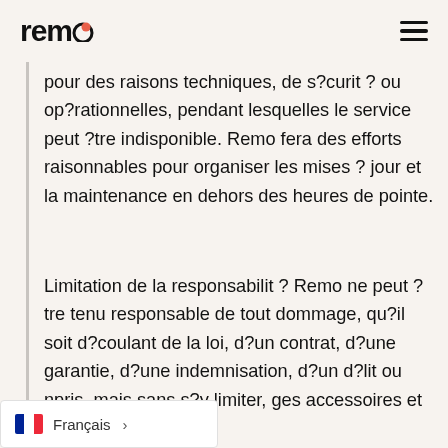remo [logo]
pour des raisons techniques, de s?curit ? ou op?rationnelles, pendant lesquelles le service peut ?tre indisponible. Remo fera des efforts raisonnables pour organiser les mises ? jour et la maintenance en dehors des heures de pointe.
Limitation de la responsabilit ? Remo ne peut ?tre tenu responsable de tout dommage, qu?il soit d?coulant de la loi, d?un contrat, d?une garantie, d?une indemnisation, d?un d?lit ou npris, mais sans s?y limiter, ges accessoires et cons?